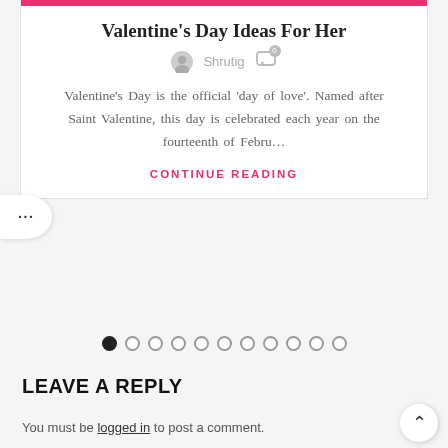Valentine's Day Ideas For Her
Shrutig
Valentine's Day is the official 'day of love'. Named after Saint Valentine, this day is celebrated each year on the fourteenth of Febru...
CONTINUE READING
[Figure (other): Pagination dots: one filled black dot followed by ten open circles indicating carousel position]
LEAVE A REPLY
You must be logged in to post a comment.